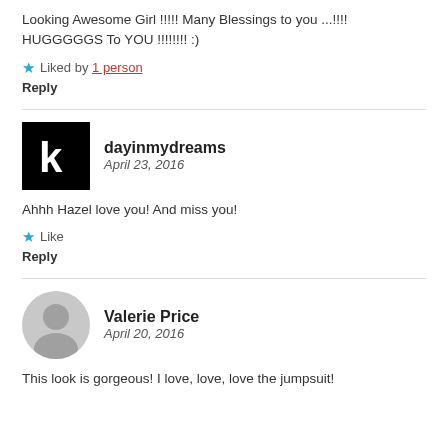Looking Awesome Girl !!!!! Many Blessings to you ...!!!! HUGGGGGS To YOU !!!!!!!! :)
★ Liked by 1 person
Reply
dayinmydreams
April 23, 2016
Ahhh Hazel love you! And miss you!
★ Like
Reply
Valerie Price
April 20, 2016
This look is gorgeous! I love, love, love the jumpsuit!